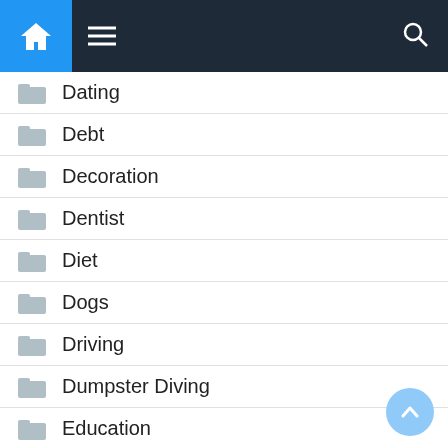Navigation bar with home, menu, and search icons
Dating
Debt
Decoration
Dentist
Diet
Dogs
Driving
Dumpster Diving
Education
Electrician